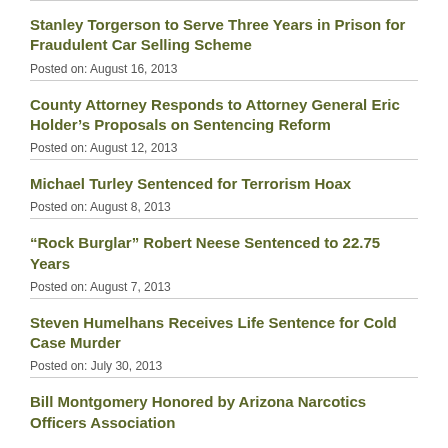Stanley Torgerson to Serve Three Years in Prison for Fraudulent Car Selling Scheme
Posted on: August 16, 2013
County Attorney Responds to Attorney General Eric Holder’s Proposals on Sentencing Reform
Posted on: August 12, 2013
Michael Turley Sentenced for Terrorism Hoax
Posted on: August 8, 2013
“Rock Burglar” Robert Neese Sentenced to 22.75 Years
Posted on: August 7, 2013
Steven Humelhans Receives Life Sentence for Cold Case Murder
Posted on: July 30, 2013
Bill Montgomery Honored by Arizona Narcotics Officers Association